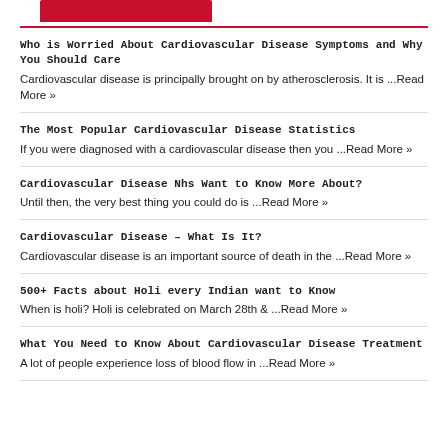MAIN CATEGORY
Who is Worried About Cardiovascular Disease Symptoms and Why You Should Care
Cardiovascular disease is principally brought on by atherosclerosis. It is ...Read More »
The Most Popular Cardiovascular Disease Statistics
If you were diagnosed with a cardiovascular disease then you ...Read More »
Cardiovascular Disease Nhs Want to Know More About?
Until then, the very best thing you could do is ...Read More »
Cardiovascular Disease – What Is It?
Cardiovascular disease is an important source of death in the ...Read More »
500+ Facts about Holi every Indian want to Know
When is holi? Holi is celebrated on March 28th & ...Read More »
What You Need to Know About Cardiovascular Disease Treatment
A lot of people experience loss of blood flow in ...Read More »